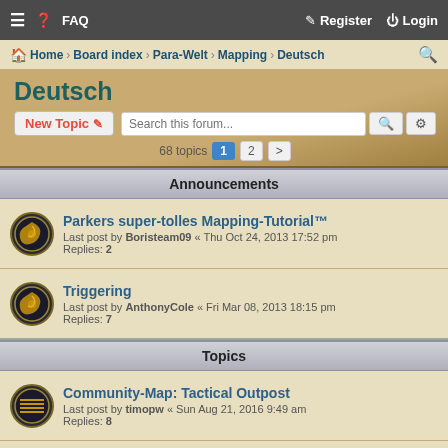≡ ❓ FAQ    Register   Login
Home › Board index › Para-Welt › Mapping › Deutsch
Deutsch
New Topic   Search this forum...   68 topics  1  2  >
Announcements
Parkers super-tolles Mapping-Tutorial™
Last post by Boristeam09 « Thu Oct 24, 2013 17:52 pm
Replies: 2
Triggering
Last post by AnthonyCole « Fri Mar 08, 2013 18:15 pm
Replies: 7
Topics
Community-Map: Tactical Outpost
Last post by timopw « Sun Aug 21, 2016 9:49 am
Replies: 8
Hilfe
Last post by Scrat « Thu Jul 28, 2016 4:35 am
Replies: 5